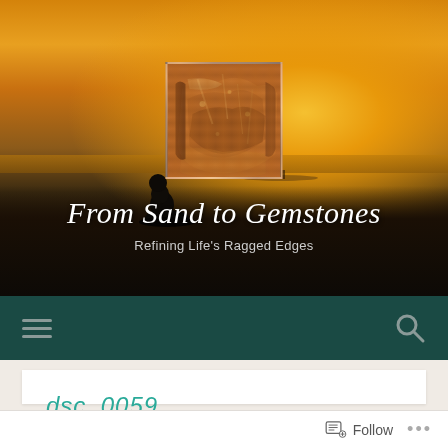[Figure (screenshot): Blog website screenshot showing 'From Sand to Gemstones' blog header with sunset beach background, stone/gemstone avatar image, navigation bar with hamburger menu and search icon, and post title 'dsc_0059' in teal italic text]
From Sand to Gemstones
Refining Life's Ragged Edges
dsc_0059
Follow